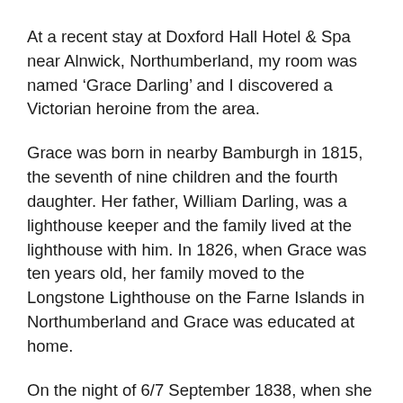At a recent stay at Doxford Hall Hotel & Spa near Alnwick, Northumberland, my room was named 'Grace Darling' and I discovered a Victorian heroine from the area.
Grace was born in nearby Bamburgh in 1815, the seventh of nine children and the fourth daughter. Her father, William Darling, was a lighthouse keeper and the family lived at the lighthouse with him. In 1826, when Grace was ten years old, her family moved to the Longstone Lighthouse on the Farne Islands in Northumberland and Grace was educated at home.
On the night of 6/7 September 1838, when she was 22 years old, only Grace and her father were at the lighthouse and there was a dreadful storm that stopped her younger brother returning from a fishing trip at Seahouses.
In the early hours of 7 September, Grace saw the shipwreck of the SS Forfarshire from the upstairs window at Longstone Lighthouse. It had broken in half, and one of